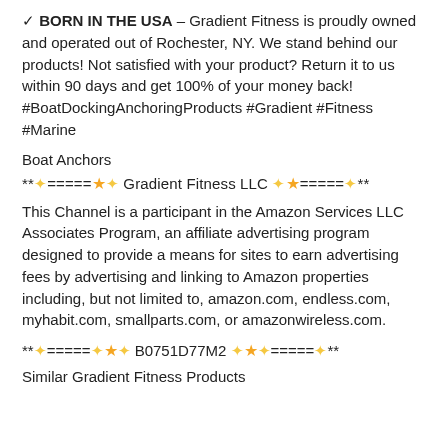✓ BORN IN THE USA – Gradient Fitness is proudly owned and operated out of Rochester, NY. We stand behind our products! Not satisfied with your product? Return it to us within 90 days and get 100% of your money back! #BoatDockingAnchoringProducts #Gradient #Fitness #Marine
Boat Anchors
**✦=====★✦ Gradient Fitness LLC ✦★=====✦**
This Channel is a participant in the Amazon Services LLC Associates Program, an affiliate advertising program designed to provide a means for sites to earn advertising fees by advertising and linking to Amazon properties including, but not limited to, amazon.com, endless.com, myhabit.com, smallparts.com, or amazonwireless.com.
**✦=====✦★✦ B0751D77M2 ✦★✦=====✦**
Similar Gradient Fitness Products